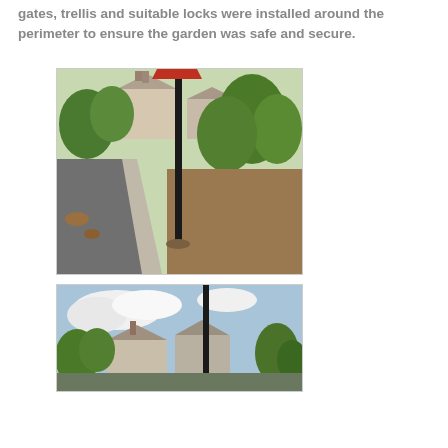gates, trellis and suitable locks were installed around the perimeter to ensure the garden was safe and secure.
[Figure (photo): Garden area with a tall lamppost/pole in the centre, a tarmac path on the left, concrete edging, overgrown shrubs and trees in the background, and residential houses visible in the distance. Daytime, overcast sky.]
[Figure (photo): Another view of the garden area showing trees, a tall pole, residential houses with chimney stacks, and a partly cloudy sky.]